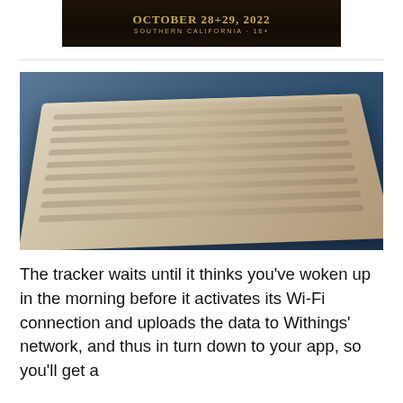[Figure (photo): Advertisement banner for an October 28+29, 2022 event in Southern California, 18+, dark background with gold text]
[Figure (photo): Close-up photo of a Withings sleep tracking pad lying on a blue fabric surface. The pad is rectangular, beige/linen-colored with ridged wave patterns on its surface, photographed at an angle.]
The tracker waits until it thinks you’ve woken up in the morning before it activates its Wi-Fi connection and uploads the data to Withings’ network, and thus in turn down to your app, so you’ll get a